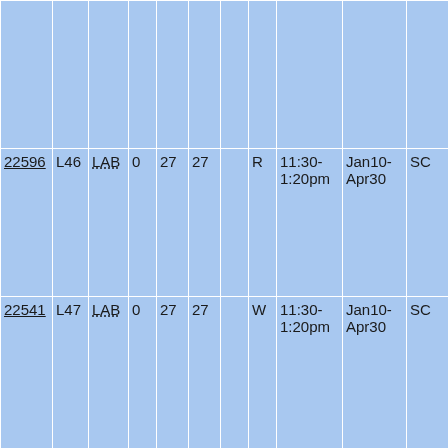|  |  |  |  |  |  |  |  |  |  |  |
| 22596 | L46 | LAB | 0 | 27 | 27 |  | R | 11:30-1:20pm | Jan10-Apr30 | SC |
| 22541 | L47 | LAB | 0 | 27 | 27 |  | W | 11:30-1:20pm | Jan10-Apr30 | SC |